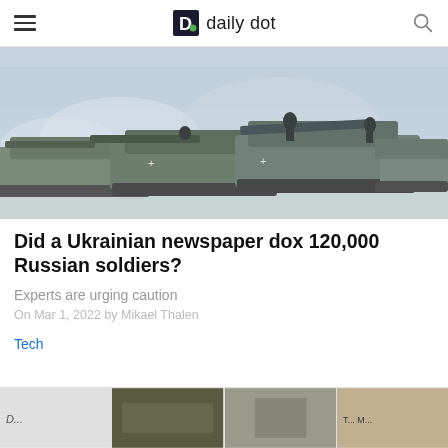daily dot
[Figure (photo): Military tanks moving through a smoky, wintry landscape with soldiers visible]
Did a Ukrainian newspaper dox 120,000 Russian soldiers?
Experts are urging caution
On Mar 1, 2022 by Mikael Thalen
Tech
[Figure (photo): Four small thumbnail images at the bottom of the page showing various article images]